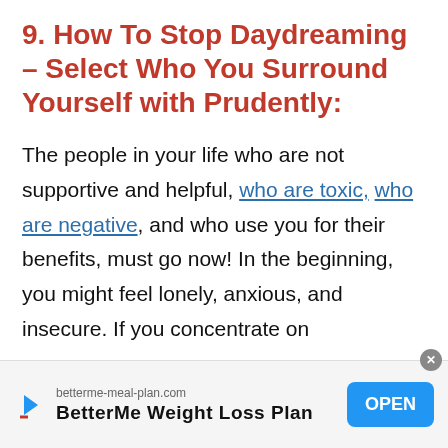9. How To Stop Daydreaming – Select Who You Surround Yourself with Prudently:
The people in your life who are not supportive and helpful, who are toxic, who are negative, and who use you for their benefits, must go now! In the beginning, you might feel lonely, anxious, and insecure. If you concentrate on
[Figure (other): Advertisement banner for BetterMe Weight Loss Plan at betterme-meal-plan.com with an OPEN button]